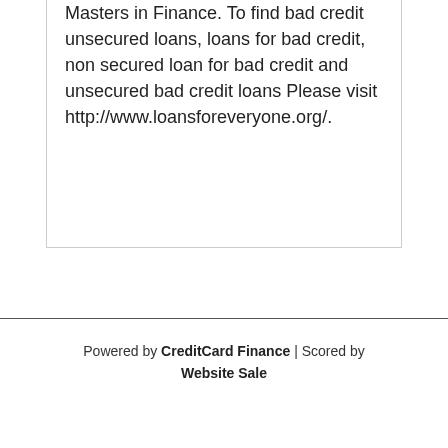Masters in Finance. To find bad credit unsecured loans, loans for bad credit, non secured loan for bad credit and unsecured bad credit loans Please visit http://www.loansforeveryone.org/.
Powered by CreditCard Finance | Scored by Website Sale